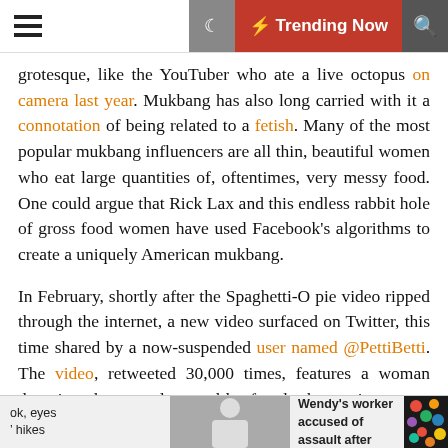≡ ☾ ⚡ Trending Now 🔍
grotesque, like the YouTuber who ate a live octopus on camera last year. Mukbang has also long carried with it a connotation of being related to a fetish. Many of the most popular mukbang influencers are all thin, beautiful women who eat large quantities of, oftentimes, very messy food. One could argue that Rick Lax and this endless rabbit hole of gross food women have used Facebook's algorithms to create a uniquely American mukbang.
In February, shortly after the Spaghetti-O pie video ripped through the internet, a new video surfaced on Twitter, this time shared by a now-suspended user named @PettiBetti. The video, retweeted 30,000 times, features a woman dumping cheese and ground beef and other various types of taco fixings onto a counter. She precedes to mash it all up into a paste with her hands, and
ok, eyes ↵ hikes   [photo]   Prescott Valley Wendy's worker accused of assault after customer...   [candy image]